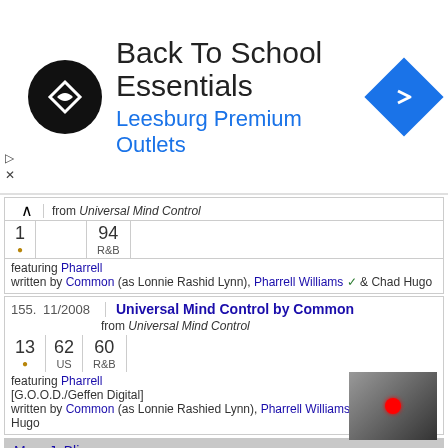[Figure (screenshot): Advertisement banner for Back To School Essentials at Leesburg Premium Outlets]
from Universal Mind Control
| 1 |  | 94 |  |
| --- | --- | --- | --- |
| • |  | R&B |  |
featuring Pharrell
written by Common (as Lonnie Rashid Lynn), Pharrell Williams ✓ & Chad Hugo
155. 11/2008  Universal Mind Control by Common
from Universal Mind Control
| 13 | 62 | 60 |  |
| --- | --- | --- | --- |
| • | US | R&B |  |
featuring Pharrell
[G.O.O.D./Geffen Digital]
written by Common (as Lonnie Rashied Lynn), Pharrell Williams ✓ & Chad Hugo
Mary J. Blige
156. 12/2008  Till the Morning by Mary J. Blige
from Growing Pains
| 1 |  | 115 |  |
| --- | --- | --- | --- |
| • |  | R&B |  |
written by Pharrell Williams ✓